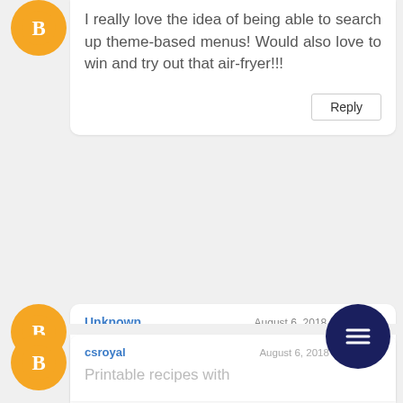I really love the idea of being able to search up theme-based menus! Would also love to win and try out that air-fryer!!!
Reply
Unknown
August 6, 2018 at 7:28 AM
This site is GREAT! I love the recipes and the search bar! Would like to maybe see meal prep ideas?
csroyal
August 6, 2018 at 7:30 AM
Printable recipes with